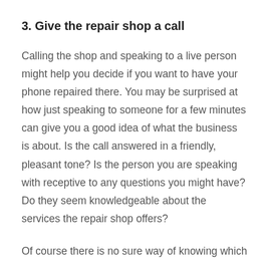3. Give the repair shop a call
Calling the shop and speaking to a live person might help you decide if you want to have your phone repaired there. You may be surprised at how just speaking to someone for a few minutes can give you a good idea of what the business is about. Is the call answered in a friendly, pleasant tone? Is the person you are speaking with receptive to any questions you might have? Do they seem knowledgeable about the services the repair shop offers?
Of course there is no sure way of knowing which